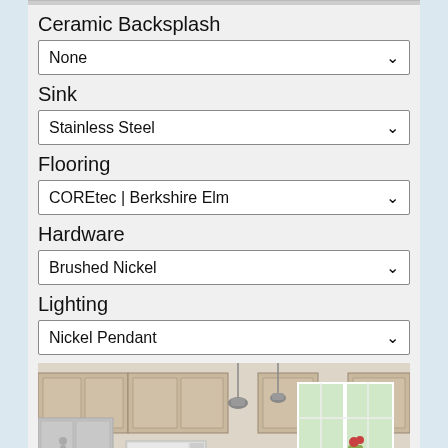Ceramic Backsplash
None
Sink
Stainless Steel
Flooring
COREtec | Berkshire Elm
Hardware
Brushed Nickel
Lighting
Nickel Pendant
[Figure (photo): Rendered kitchen interior with light wood cabinetry, stainless steel appliances including refrigerator and microwave, white island with bar stools, pendant lighting, and windows overlooking greenery]